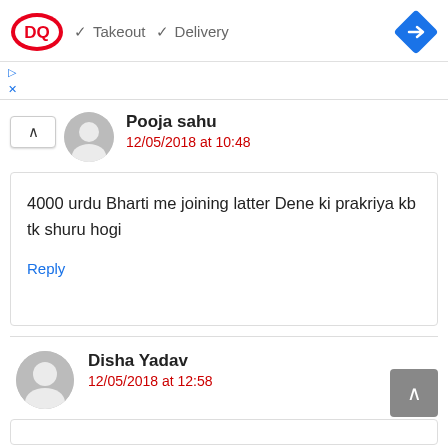[Figure (logo): Dairy Queen (DQ) logo with red and white oval design]
✓ Takeout  ✓ Delivery
[Figure (other): Blue diamond navigation arrow icon]
Pooja sahu
12/05/2018 at 10:48
4000 urdu Bharti me joining latter Dene ki prakriya kb tk shuru hogi
Reply
Disha Yadav
12/05/2018 at 12:58